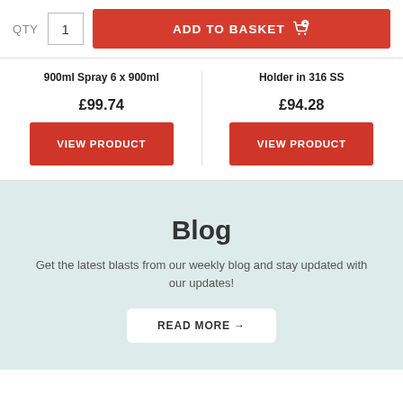QTY  1  ADD TO BASKET
900ml Spray 6 x 900ml
Holder in 316 SS
£99.74
£94.28
VIEW PRODUCT
VIEW PRODUCT
Blog
Get the latest blasts from our weekly blog and stay updated with our updates!
READ MORE →